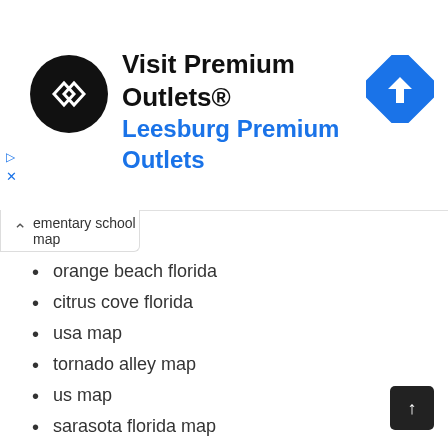[Figure (infographic): Advertisement banner for Premium Outlets with logo, text 'Visit Premium Outlets® Leesburg Premium Outlets', and a navigation arrow icon]
elementary school map
orange beach florida
citrus cove florida
usa map
tornado alley map
us map
sarasota florida map
map of africa
florida east coast map
map of eastern united states